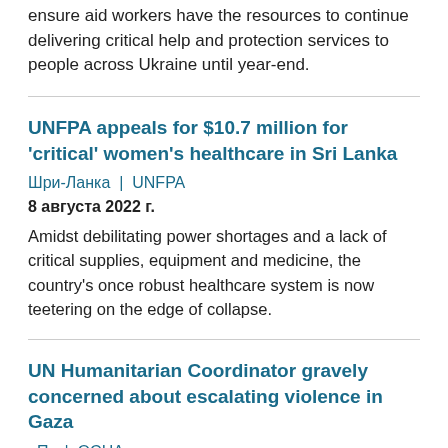ensure aid workers have the resources to continue delivering critical help and protection services to people across Ukraine until year-end.
UNFPA appeals for $10.7 million for 'critical' women's healthcare in Sri Lanka
Шри-Ланка  |  UNFPA
8 августа 2022 г.
Amidst debilitating power shortages and a lack of critical supplies, equipment and medicine, the country's once robust healthcare system is now teetering on the edge of collapse.
UN Humanitarian Coordinator gravely concerned about escalating violence in Gaza
оПт  |  ОСНА